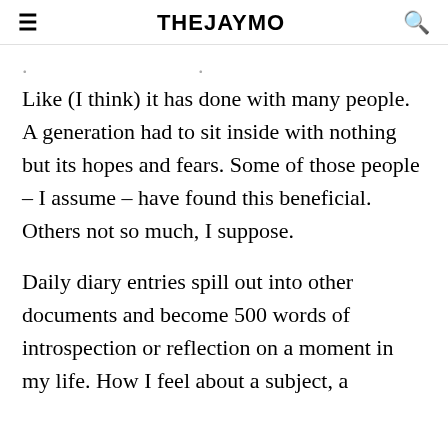THEJAYMO
Like (I think) it has done with many people. A generation had to sit inside with nothing but its hopes and fears. Some of those people – I assume – have found this beneficial. Others not so much, I suppose.
Daily diary entries spill out into other documents and become 500 words of introspection or reflection on a moment in my life. How I feel about a subject, a